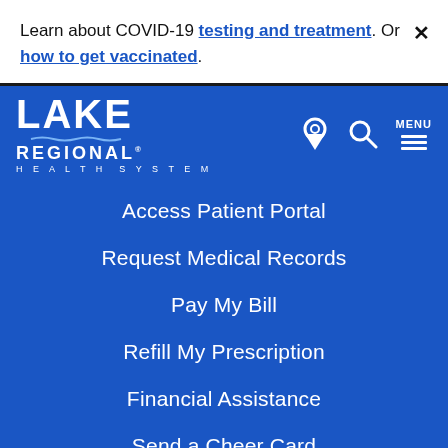Learn about COVID-19 testing and treatment. Or how to get vaccinated.
[Figure (logo): Lake Regional Health System logo in white on blue background]
Access Patient Portal
Request Medical Records
Pay My Bill
Refill My Prescription
Financial Assistance
Send a Cheer Card